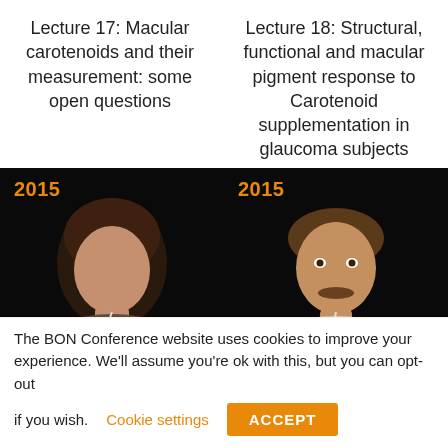Lecture 17: Macular carotenoids and their measurement: some open questions
Lecture 18: Structural, functional and macular pigment response to Carotenoid supplementation in glaucoma subjects
[Figure (photo): Video thumbnail of a woman speaking at a conference, with '2015' in orange text overlay on black background]
[Figure (photo): Video thumbnail of a man speaking at a conference, with '2015' in orange text overlay on black background]
The BON Conference website uses cookies to improve your experience. We'll assume you're ok with this, but you can opt-out if you wish. Cookie settings ACCEPT